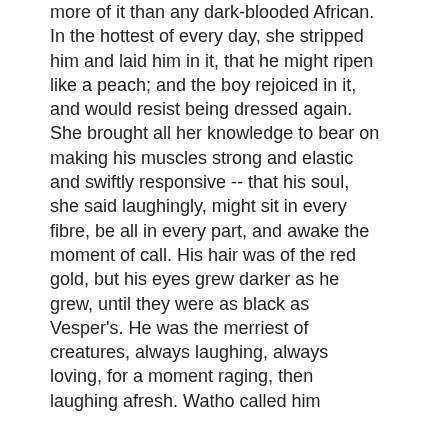more of it than any dark-blooded African. In the hottest of every day, she stripped him and laid him in it, that he might ripen like a peach; and the boy rejoiced in it, and would resist being dressed again. She brought all her knowledge to bear on making his muscles strong and elastic and swiftly responsive -- that his soul, she said laughingly, might sit in every fibre, be all in every part, and awake the moment of call. His hair was of the red gold, but his eyes grew darker as he grew, until they were as black as Vesper's. He was the merriest of creatures, always laughing, always loving, for a moment raging, then laughing afresh. Watho called him